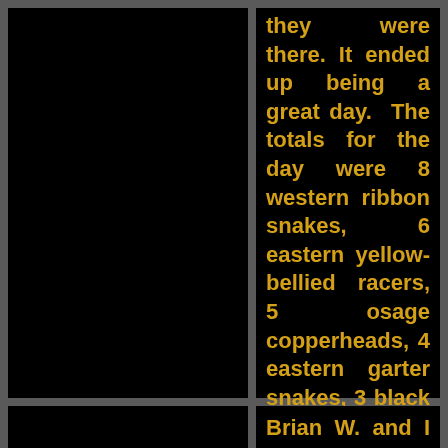[Figure (photo): Black rectangular image area (top left cell)]
they were there. It ended up being a great day. The totals for the day were 8 western ribbon snakes, 6 eastern yellow-bellied racers, 5 osage copperheads, 4 eastern garter snakes, 3 black rat snakes, 3 northern water snakes, 2 prairie ring-necked snakes, and 1 DOR brown snake. A total of 32 snakes.
[Figure (photo): Black rectangular image area (bottom left cell)]
Brian W. and I decided today was the day to make our